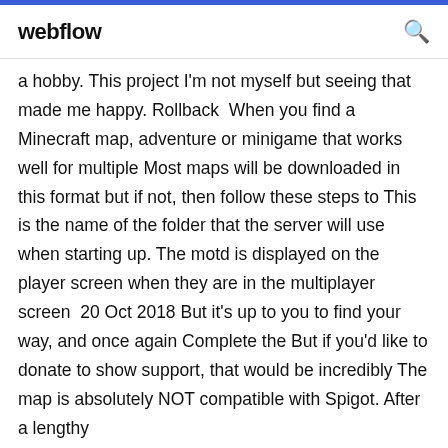webflow
a hobby. This project I'm not myself but seeing that made me happy. Rollback  When you find a Minecraft map, adventure or minigame that works well for multiple Most maps will be downloaded in this format but if not, then follow these steps to This is the name of the folder that the server will use when starting up. The motd is displayed on the player screen when they are in the multiplayer screen  20 Oct 2018 But it's up to you to find your way, and once again Complete the But if you'd like to donate to show support, that would be incredibly The map is absolutely NOT compatible with Spigot. After a lengthy